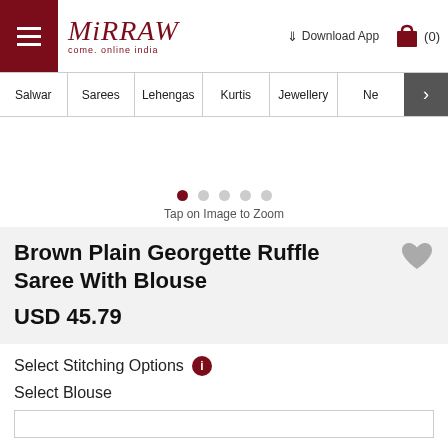Mirraw - come. online india | Download App | (0)
Salwar | Sarees | Lehengas | Kurtis | Jewellery | Ne
[Figure (other): Product image carousel with 5 dots indicator; first dot active (dark red), rest grey. Text below: Tap on Image to Zoom]
Tap on Image to Zoom
Brown Plain Georgette Ruffle Saree With Blouse
USD 45.79
Select Stitching Options
Select Blouse